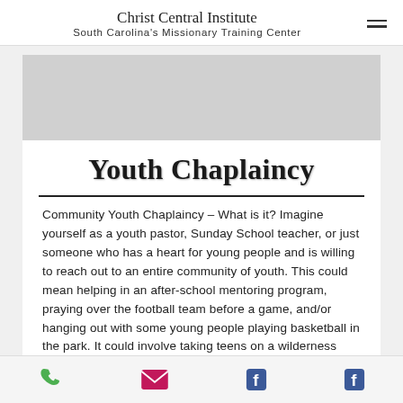Christ Central Institute
South Carolina's Missionary Training Center
[Figure (photo): Gray placeholder image area at top of content card]
Youth Chaplaincy
Community Youth Chaplaincy – What is it? Imagine yourself as a youth pastor, Sunday School teacher, or just someone who has a heart for young people and is willing to reach out to an entire community of youth. This could mean helping in an after-school mentoring program, praying over the football team before a game, and/or hanging out with some young people playing basketball in the park. It could involve taking teens on a wilderness retreat or on a community service project. It might mean spending time with a lonely young person who thinks no one cares. In this unique role, a youth
Phone | Email | Facebook | Facebook